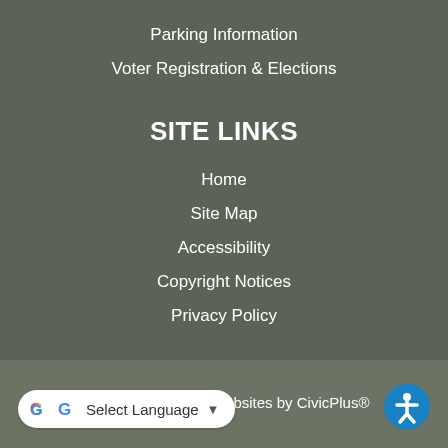Parking Information
Voter Registration & Elections
SITE LINKS
Home
Site Map
Accessibility
Copyright Notices
Privacy Policy
Government Websites by CivicPlus®
Select Language